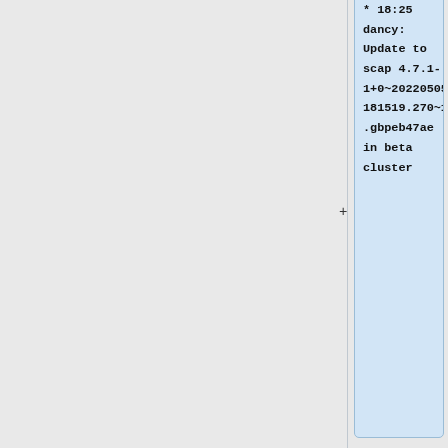* 18:25 dancy: Update to scap 4.7.1-1+0~20220505181519.270~1.gbpeb47ae in beta cluster
* 18:16 dduvall: disabled puppet on integration-agent-docker-1023.integration.eqiad1.wikimedia.cloud for deployment